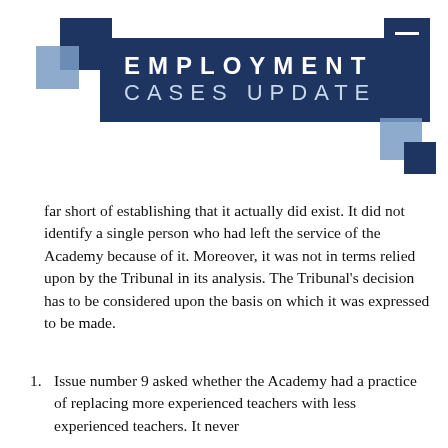[Figure (logo): Employment Cases Update header with decorative dark blue and light blue squares and title banner on dark navy background reading EMPLOYMENT CASES UPDATE, plus hamburger menu icon top right]
far short of establishing that it actually did exist. It did not identify a single person who had left the service of the Academy because of it. Moreover, it was not in terms relied upon by the Tribunal in its analysis. The Tribunal's decision has to be considered upon the basis on which it was expressed to be made.
1. Issue number 9 asked whether the Academy had a practice of replacing more experienced teachers with less experienced teachers. It never